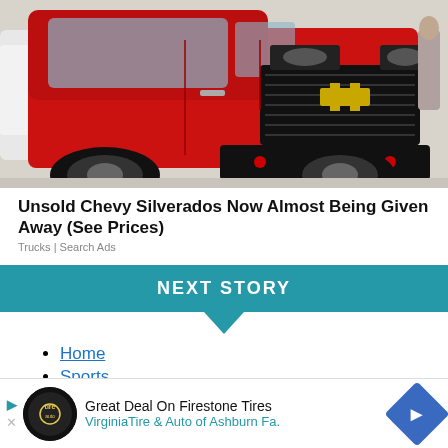[Figure (photo): Red Chevrolet Silverado truck at an auto show, front three-quarter view, with black grille and black wheels.]
Unsold Chevy Silverados Now Almost Being Given Away (See Prices)
Trucks | Search Ads
NEXT STORY
Home
Sports
Football
[Figure (photo): Advertisement banner: Great Deal On Firestone Tires — VirginiaTire & Auto of Ashburn Fa. with a Firestone logo circle and blue diamond arrow icon.]